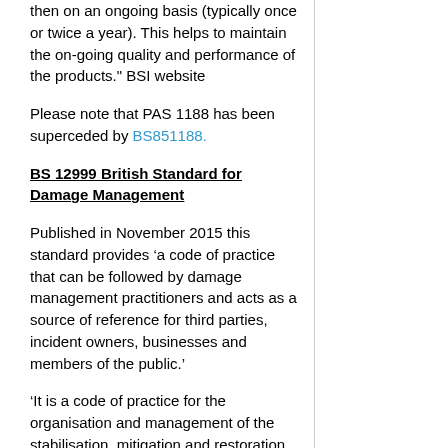then on an ongoing basis (typically once or twice a year). This helps to maintain the on-going quality and performance of the products." BSI website
Please note that PAS 1188 has been superceded by BS851188.
BS 12999 British Standard for Damage Management
Published in November 2015 this standard provides ‘a code of practice that can be followed by damage management practitioners and acts as a source of reference for third parties, incident owners, businesses and members of the public.’
‘It is a code of practice for the organisation and management of the stabilisation, mitigation and restoration of properties, contents, facilities and assets following incident